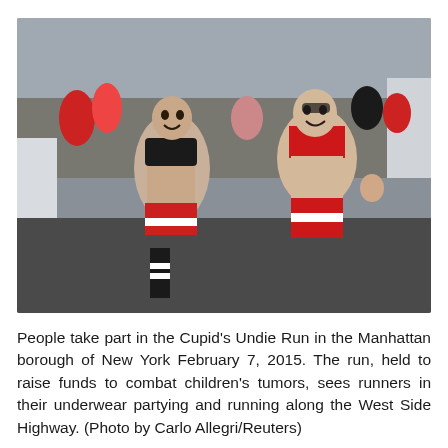[Figure (photo): People running in underwear during the Cupid's Undie Run in Manhattan, New York. Two women in the foreground wear red and black lingerie/underwear. A crowd of participants is visible in the background on a street with snow on the sides.]
People take part in the Cupid's Undie Run in the Manhattan borough of New York February 7, 2015. The run, held to raise funds to combat children's tumors, sees runners in their underwear partying and running along the West Side Highway. (Photo by Carlo Allegri/Reuters)
Details ❯